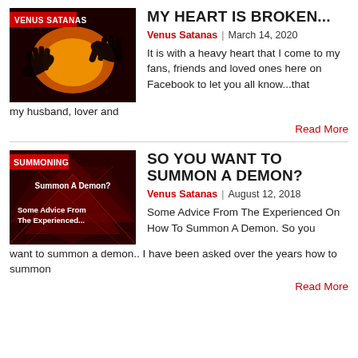[Figure (photo): Thumbnail image with dark silhouette of two hands and orange/red background. Red 'VENUS SATANAS' label at top left.]
MY HEART IS BROKEN...
Venus Satanas | March 14, 2020
It is with a heavy heart that I come to my fans, friends and loved ones here on Facebook to let you all know...that my husband, lover and
Read More
[Figure (photo): Thumbnail image with dark red background and triangular shapes. Red 'SUMMONING' label. Text: 'Summon A Demon?' and 'Some Advice From The Experienced...']
SO YOU WANT TO SUMMON A DEMON?
Venus Satanas | August 12, 2018
Some Advice From The Experienced On How To Summon A Demon. So you want to summon a demon.. I have been asked over the years how to summon
Read More